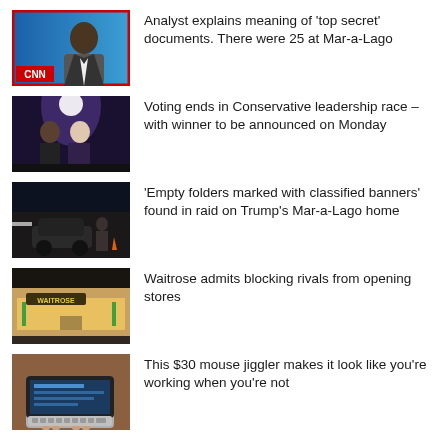[Figure (screenshot): CNN news thumbnail showing a male anchor on blue background with CNN logo]
Analyst explains meaning of 'top secret' documents. There were 25 at Mar-a-Lago
[Figure (photo): Two people on stage under spotlight, Conservative leadership candidates]
Voting ends in Conservative leadership race – with winner to be announced on Monday
[Figure (photo): Night scene with dark SUV and people, Mar-a-Lago raid]
'Empty folders marked with classified banners' found in raid on Trump's Mar-a-Lago home
[Figure (photo): Waitrose store exterior at night]
Waitrose admits blocking rivals from opening stores
[Figure (photo): Laptop on wooden desk, mouse jiggler article]
This $30 mouse jiggler makes it look like you're working when you're not